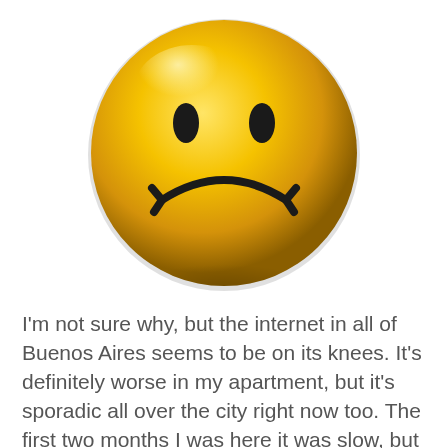[Figure (illustration): A shiny yellow sad face emoji (frowning face) button/badge on a white background. The face is round, golden-yellow with a glossy sheen, black oval eyes, and a downward-curved frown mouth with arrow-like ends.]
I'm not sure why, but the internet in all of Buenos Aires seems to be on its knees. It's definitely worse in my apartment, but it's sporadic all over the city right now too. The first two months I was here it was slow, but reliable for the most part. It would take me 10 hours to download something that would take me 1 or 2 back home, but you could always get online when you